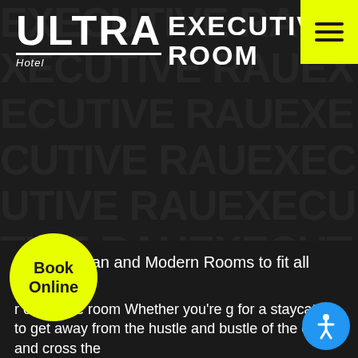[Figure (screenshot): Dark hotel website screenshot showing Ultra Hotel logo, Executive Room heading, carousel navigation arrows, watermark text pattern background, Book Online yellow circle button, and accessibility button]
EXECUTIVE ROOM
ULTRA Hotel
Stylish Urban and Modern Rooms to fit all need.
r executive room Whether you're g for a staycation to get away from the hustle and bustle of the city and cross the